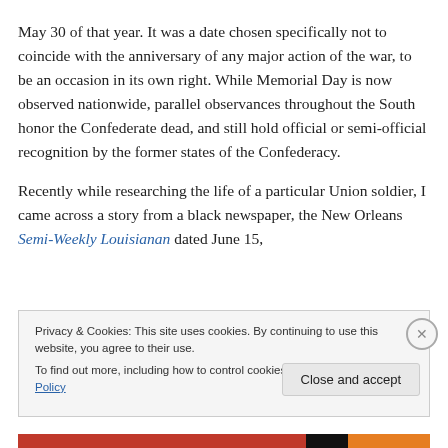May 30 of that year. It was a date chosen specifically not to coincide with the anniversary of any major action of the war, to be an occasion in its own right. While Memorial Day is now observed nationwide, parallel observances throughout the South honor the Confederate dead, and still hold official or semi-official recognition by the former states of the Confederacy.
Recently while researching the life of a particular Union soldier, I came across a story from a black newspaper, the New Orleans Semi-Weekly Louisianan dated June 15,
Privacy & Cookies: This site uses cookies. By continuing to use this website, you agree to their use.
To find out more, including how to control cookies, see here: Cookie Policy
Close and accept